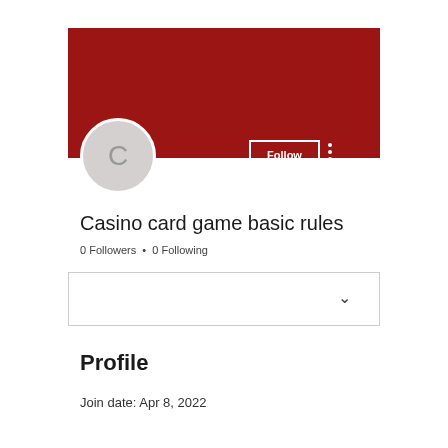[Figure (screenshot): Dark red banner header for a user profile page]
[Figure (illustration): Circular grey avatar with letter C]
Casino card game basic rules
0 Followers • 0 Following
[Figure (screenshot): Dropdown selector box with chevron]
Profile
Join date: Apr 8, 2022